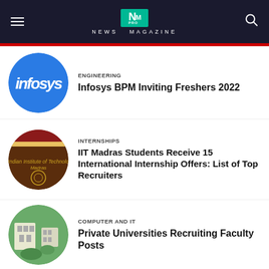NEWS MAGAZINE
[Figure (screenshot): Infosys logo circular thumbnail - blue background with 'infosys' text]
ENGINEERING
Infosys BPM Inviting Freshers 2022
[Figure (photo): IIT Madras circular thumbnail - brown building with institute seal]
INTERNSHIPS
IIT Madras Students Receive 15 International Internship Offers: List of Top Recruiters
[Figure (photo): Private university campus circular thumbnail - aerial view of buildings and greenery]
COMPUTER AND IT
Private Universities Recruiting Faculty Posts